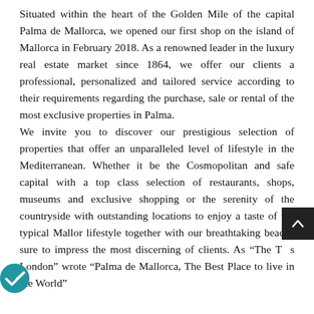Situated within the heart of the Golden Mile of the capital Palma de Mallorca, we opened our first shop on the island of Mallorca in February 2018. As a renowned leader in the luxury real estate market since 1864, we offer our clients a professional, personalized and tailored service according to their requirements regarding the purchase, sale or rental of the most exclusive properties in Palma. We invite you to discover our prestigious selection of properties that offer an unparalleled level of lifestyle in the Mediterranean. Whether it be the Cosmopolitan and safe capital with a top class selection of restaurants, shops, museums and exclusive shopping or the serenity of the countryside with outstanding locations to enjoy a taste of the typical Mallor lifestyle together with our breathtaking beache sure to impress the most discerning of clients. As “The T s London” wrote “Palma de Mallorca, The Best Place to live in the World”